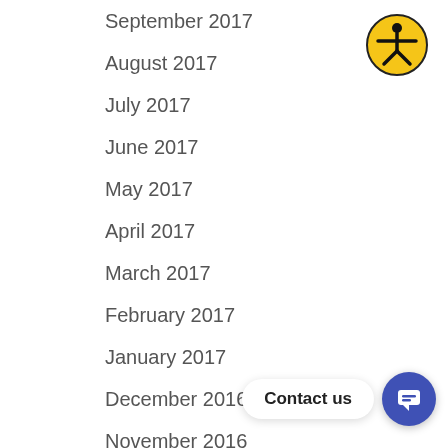September 2017
August 2017
July 2017
June 2017
May 2017
April 2017
March 2017
February 2017
January 2017
December 2016
November 2016
October 2016
September 2016
August 2016
[Figure (illustration): Accessibility icon: yellow circle with black figure of a person with arms and legs spread, accessibility symbol]
[Figure (illustration): Contact us widget: white rounded bubble with text 'Contact us' and a blue circle chat icon]